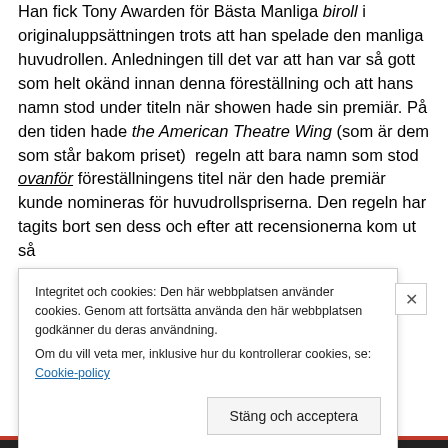Han fick Tony Awarden för Bästa Manliga biroll i originaluppsättningen trots att han spelade den manliga huvudrollen. Anledningen till det var att han var så gott som helt okänd innan denna föreställning och att hans namn stod under titeln när showen hade sin premiär. På den tiden hade the American Theatre Wing (som är dem som står bakom priset)  regeln att bara namn som stod ovanför föreställningens titel när den hade premiär kunde nomineras för huvudrollspriserna. Den regeln har tagits bort sen dess och efter att recensionerna kom ut så
Integritet och cookies: Den här webbplatsen använder cookies. Genom att fortsätta använda den här webbplatsen godkänner du deras användning.
Om du vill veta mer, inklusive hur du kontrollerar cookies, se: Cookie-policy
Stäng och acceptera